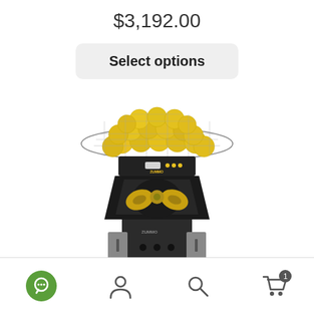$3,192.00
Select options
[Figure (photo): Commercial orange/citrus juicer machine (Zummo brand) with a large wire basket filled with yellow oranges on top and a transparent lower body showing the juicing mechanism, black and silver body.]
Navigation bar with chat icon, user icon, search icon, and shopping cart icon with badge showing 1 item